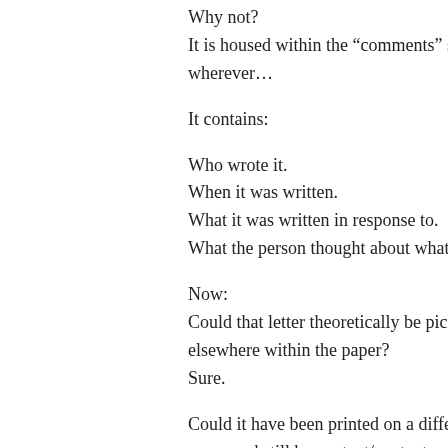Why not?
It is housed within the “comments” section wherever…
It contains:
Who wrote it.
When it was written.
What it was written in response to.
What the person thought about what they
Now:
Could that letter theoretically be picked up elsewhere within the paper?
Sure.
Could it have been printed on a different paper and still be content/context-complet
Yep.
Could it be printed multiple times in the sa